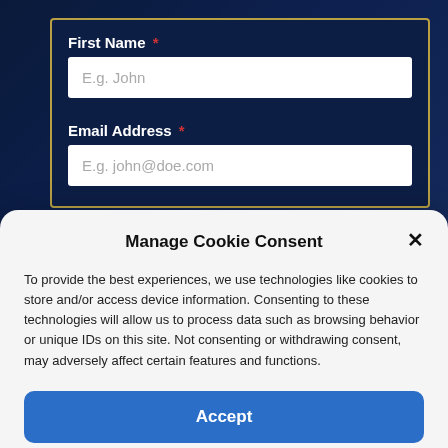First Name *
E.g. John
Email Address *
E.g. john@doe.com
Manage Cookie Consent
To provide the best experiences, we use technologies like cookies to store and/or access device information. Consenting to these technologies will allow us to process data such as browsing behavior or unique IDs on this site. Not consenting or withdrawing consent, may adversely affect certain features and functions.
Accept
Cookie Policy   Privacy Policy & Disclaimer